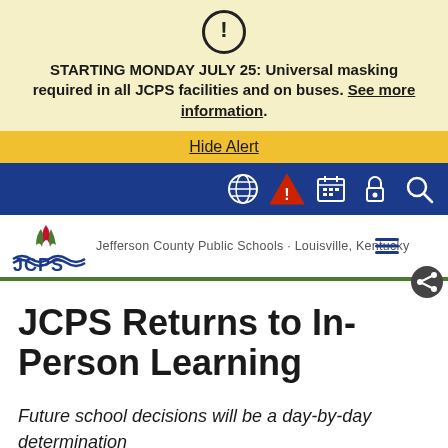STARTING MONDAY JULY 25: Universal masking required in all JCPS facilities and on buses. See more information.
Hide Alert
[Figure (logo): JCPS logo with flame/book icon and navigation icons including globe, alert, calendar, lock, and search]
Jefferson County Public Schools • Louisville, Kentucky
JCPS Returns to In-Person Learning
Future school decisions will be a day-by-day determination